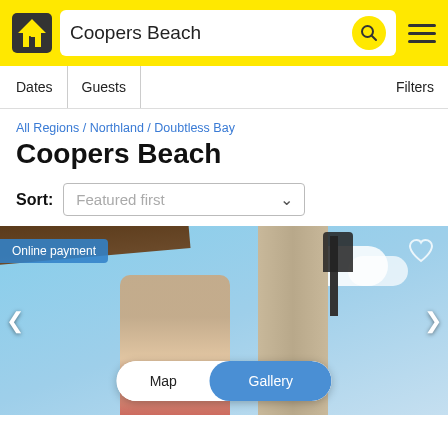Coopers Beach
Dates | Guests | Filters
All Regions / Northland / Doubtless Bay
Coopers Beach
Sort: Featured first
[Figure (photo): Listing card photo showing people under a pergola with a stone wall and antique street lamp, blue sky with clouds. Overlay badge: Online payment. Map/Gallery toggle and navigation arrows visible.]